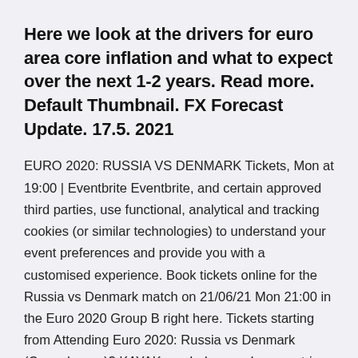Here we look at the drivers for euro area core inflation and what to expect over the next 1-2 years. Read more. Default Thumbnail. FX Forecast Update. 17.5. 2021
EURO 2020: RUSSIA VS DENMARK Tickets, Mon at 19:00 | Eventbrite Eventbrite, and certain approved third parties, use functional, analytical and tracking cookies (or similar technologies) to understand your event preferences and provide you with a customised experience. Book tickets online for the Russia vs Denmark match on 21/06/21 Mon 21:00 in the Euro 2020 Group B right here. Tickets starting from Attending Euro 2020: Russia vs Denmark (Copenhagen)? KAYAK can help you plan your trip by comparing all your travel options in one place. Find the best hotels and